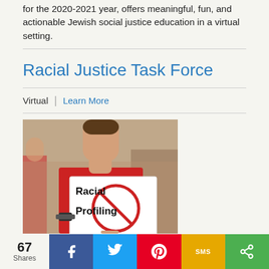for the 2020-2021 year, offers meaningful, fun, and actionable Jewish social justice education in a virtual setting.
Racial Justice Task Force
Virtual | Learn More
[Figure (photo): Person in red shirt holding a sign that reads 'Racial Profiling' with a red circle-slash symbol over the text, at what appears to be a protest or demonstration.]
67 Shares | Facebook | Twitter | Pinterest | SMS | Share